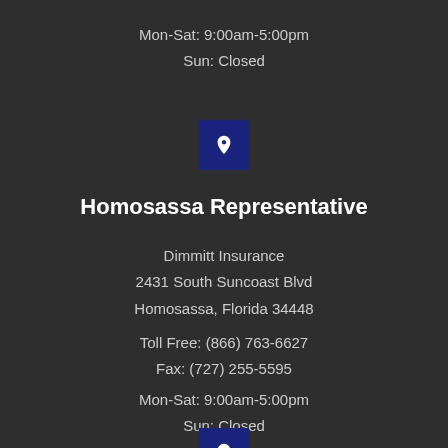Mon-Sat: 9:00am-5:00pm
Sun: Closed
[Figure (illustration): Dark blue square icon with a white map location pin symbol]
Homosassa Representative
Dimmitt Insurance
2431 South Suncoast Blvd
Homosassa, Florida 34448
Toll Free: (866) 763-6627
Fax: (727) 255-5595
Mon-Sat: 9:00am-5:00pm
Sun: Closed
[Figure (illustration): Dark blue square icon with a white map location pin symbol (partial, cut off at bottom)]